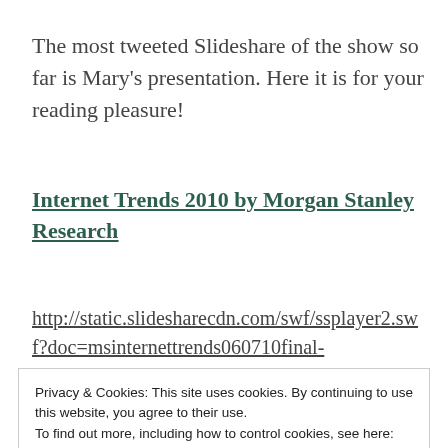The most tweeted Slideshare of the show so far is Mary's presentation. Here it is for your reading pleasure!
Internet Trends 2010 by Morgan Stanley Research
http://static.slidesharecdn.com/swf/ssplayer2.swf?doc=msinternettrends060710final-
Privacy & Cookies: This site uses cookies. By continuing to use this website, you agree to their use.
To find out more, including how to control cookies, see here: Cookie Policy
[Close and accept]
Marketing in Real Time